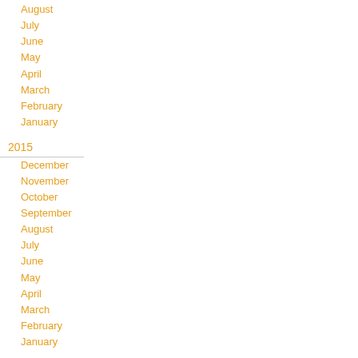August
July
June
May
April
March
February
January
2015
December
November
October
September
August
July
June
May
April
March
February
January
2014
December
November
October
September
August
July
June
May